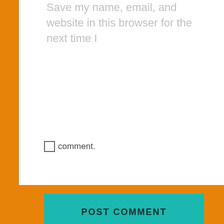Save my name, email, and website in this browser for the next time I comment.
POST COMMENT
Notify me of new comments via email.
Notify me of new posts via email.
Privacy & Cookies: This site uses cookies. By continuing to use this website, you agree to their use. To find out more, including how to control cookies, see here: Cookie Policy
Close and accept